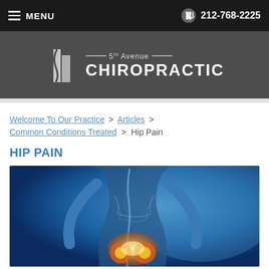MENU   212-768-2225
[Figure (logo): 5th Avenue Chiropractic logo with spine/building icon on dark gray background]
Welcome To Our Practice > Articles > Common Conditions Treated > Hip Pain
HIP PAIN
[Figure (photo): Medical illustration of human body with glowing hip/pelvis joint anatomy on blue background]